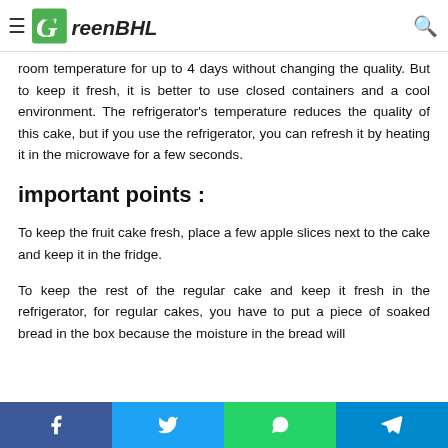GreenBHL
room temperature for up to 4 days without changing the quality. But to keep it fresh, it is better to use closed containers and a cool environment. The refrigerator's temperature reduces the quality of this cake, but if you use the refrigerator, you can refresh it by heating it in the microwave for a few seconds.
important points :
To keep the fruit cake fresh, place a few apple slices next to the cake and keep it in the fridge.
To keep the rest of the regular cake and keep it fresh in the refrigerator, for regular cakes, you have to put a piece of soaked bread in the box because the moisture in the bread will